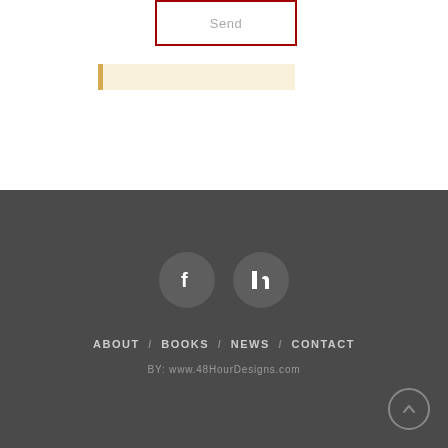[Figure (screenshot): A Send button with red border on white background]
[Figure (screenshot): A cream/yellow notification bar with left gold border]
[Figure (screenshot): Footer section with dark gray background containing Facebook and LinkedIn social icons, navigation links, and credit text]
ABOUT / BOOKS / NEWS / CONTACT
BY: www.48HourDesigns.com